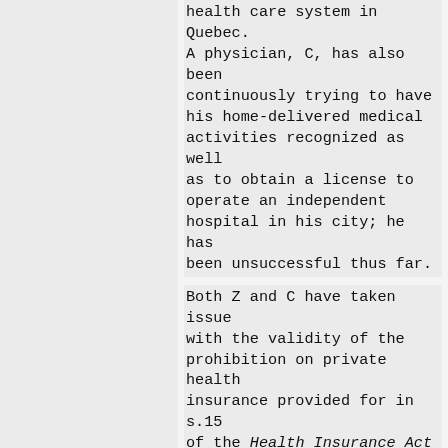health care system in Quebec. A physician, C, has also been continuously trying to have his home-delivered medical activities recognized as well as to obtain a license to operate an independent hospital in his city; he has been unsuccessful thus far.
Both Z and C have taken issue with the validity of the prohibition on private health insurance provided for in s.15 of the Health Insurance Act (HEIA) and s.11 of the Hospital Insurance Act (HOIA). They claim that these prohibitions deprive them access to health care services